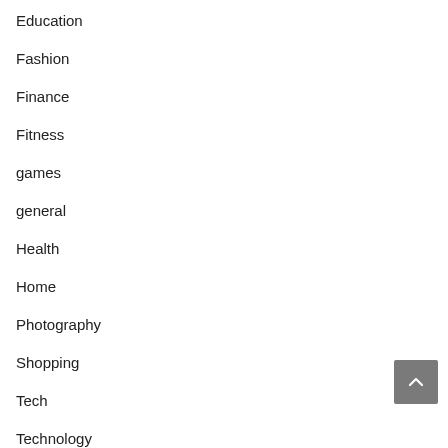Education
Fashion
Finance
Fitness
games
general
Health
Home
Photography
Shopping
Tech
Technology
Uncategorized